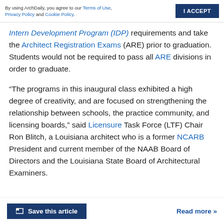By using ArchDaily, you agree to our Terms of Use, Privacy Policy and Cookie Policy. | I ACCEPT
Intern Development Program (IDP) requirements and take the Architect Registration Exams (ARE) prior to graduation. Students would not be required to pass all ARE divisions in order to graduate.
“The programs in this inaugural class exhibited a high degree of creativity, and are focused on strengthening the relationship between schools, the practice community, and licensing boards,” said Licensure Task Force (LTF) Chair Ron Blitch, a Louisiana architect who is a former NCARB President and current member of the NAAB Board of Directors and the Louisiana State Board of Architectural Examiners.
Save this article | Read more »